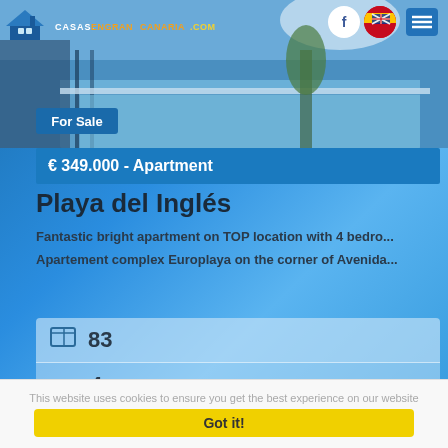[Figure (screenshot): Website header with logo (casas.engrancanaria.com house logo), property photo showing a pool area, navigation icons including Facebook circle, Spain/UK flag circle, and hamburger menu button]
For Sale
€ 349.000 - Apartment
Playa del Inglés
Fantastic bright apartment on TOP location with 4 bedro...
Apartement complex Europlaya on the corner of Avenida...
83
4
2
This website uses cookies to ensure you get the best experience on our website
Got it!